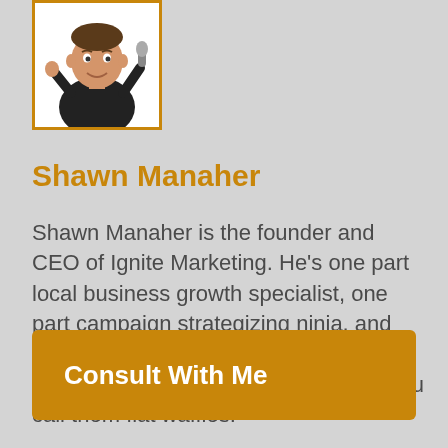[Figure (illustration): Cartoon caricature of Shawn Manaher, a man in a black shirt holding a microphone, shown from the waist up, inside a white box with orange border.]
Shawn Manaher
Shawn Manaher is the founder and CEO of Ignite Marketing. He's one part local business growth specialist, one part campaign strategizing ninja, and two parts leader of an awesome nerd pack. He won't eat pancakes unless you call them flat waffles.
Consult With Me